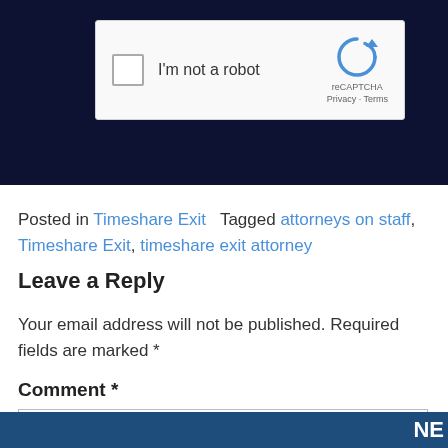[Figure (screenshot): reCAPTCHA widget with checkbox labeled 'I'm not a robot' on a dark navy background]
Posted in Timeshare Exit   Tagged attorneys on staff, Timeshare Exit, timeshare exit attorney
Leave a Reply
Your email address will not be published. Required fields are marked *
Comment *
NE